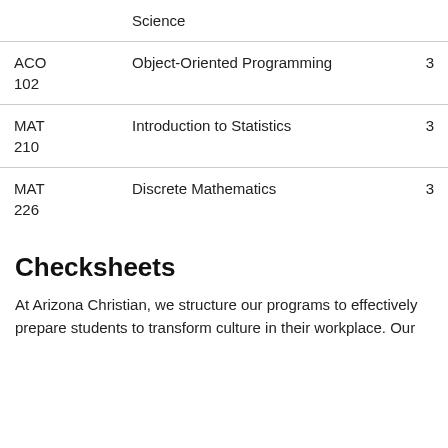| Course | Title | Credits |
| --- | --- | --- |
|  | Science |  |
| ACO 102 | Object-Oriented Programming | 3 |
| MAT 210 | Introduction to Statistics | 3 |
| MAT 226 | Discrete Mathematics | 3 |
Checksheets
At Arizona Christian, we structure our programs to effectively prepare students to transform culture in their workplace. Our